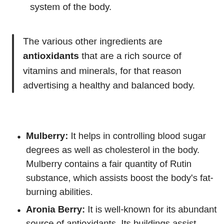system of the body.
The various other ingredients are antioxidants that are a rich source of vitamins and minerals, for that reason advertising a healthy and balanced body.
Mulberry: It helps in controlling blood sugar degrees as well as cholesterol in the body. Mulberry contains a fair quantity of Rutin substance, which assists boost the body's fat-burning abilities.
Aronia Berry: It is well-known for its abundant source of antioxidants. Its buildings assist strengthen your body immune system, boost power, as well as include in your basic dietary